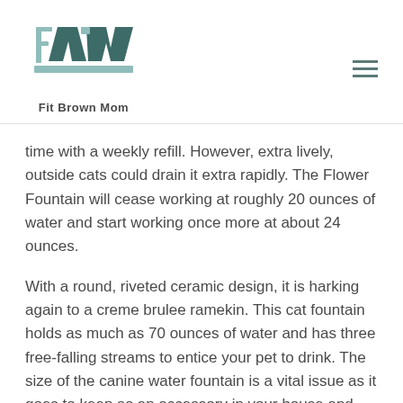[Figure (logo): Fit Brown Mom logo with stylized FW letters in teal/green tones and text 'Fit Brown Mom' below]
time with a weekly refill. However, extra lively, outside cats could drain it extra rapidly. The Flower Fountain will cease working at roughly 20 ounces of water and start working once more at about 24 ounces.
With a round, riveted ceramic design, it is harking again to a creme brulee ramekin. This cat fountain holds as much as 70 ounces of water and has three free-falling streams to entice your pet to drink. The size of the canine water fountain is a vital issue as it goes to keep as an accessory in your house and specifically in the